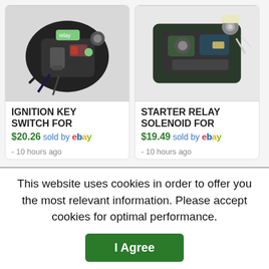[Figure (photo): Photo of an ignition key switch electronic component with wiring]
IGNITION KEY SWITCH FOR
$20.26 sold by ebay
- 10 hours ago
[Figure (photo): Photo of a starter relay solenoid electronic component]
STARTER RELAY SOLENOID FOR
$19.49 sold by ebay
- 10 hours ago
This website uses cookies in order to offer you the most relevant information. Please accept cookies for optimal performance.
I Agree